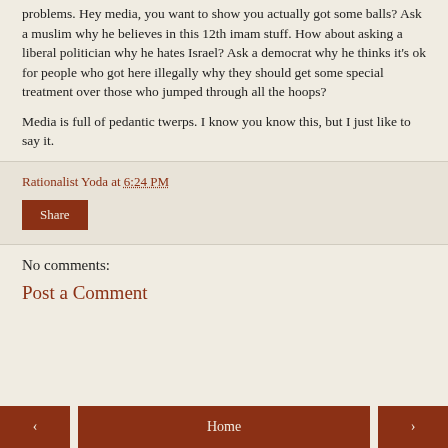problems. Hey media, you want to show you actually got some balls? Ask a muslim why he believes in this 12th imam stuff. How about asking a liberal politician why he hates Israel? Ask a democrat why he thinks it's ok for people who got here illegally why they should get some special treatment over those who jumped through all the hoops?
Media is full of pedantic twerps. I know you know this, but I just like to say it.
Rationalist Yoda at 6:24 PM
Share
No comments:
Post a Comment
‹  Home  ›